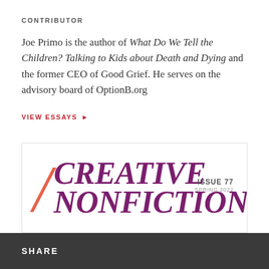CONTRIBUTOR
Joe Primo is the author of What Do We Tell the Children? Talking to Kids about Death and Dying and the former CEO of Good Grief. He serves on the advisory board of OptionB.org
VIEW ESSAYS ▶
[Figure (other): Creative Nonfiction magazine cover preview — Issue 77, Spring 2022 — showing magazine logo with red slash, purple bold italic text 'CREATIVE NONFICTION.' and an orange dot]
SHARE